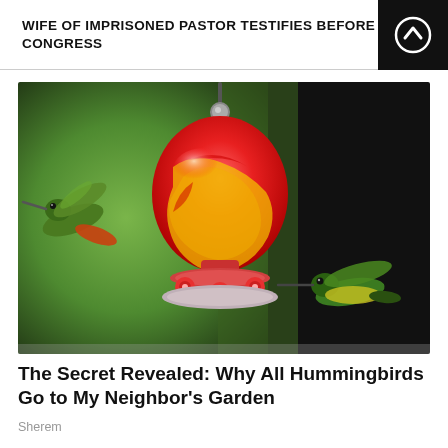WIFE OF IMPRISONED PASTOR TESTIFIES BEFORE CONGRESS
[Figure (photo): A colorful red and yellow swirled glass hummingbird feeder hanging in a garden with two hummingbirds nearby — one on the left hovering and one on the right perched on the feeder base. Background is blurred green and dark.]
The Secret Revealed: Why All Hummingbirds Go to My Neighbor's Garden
Sherem